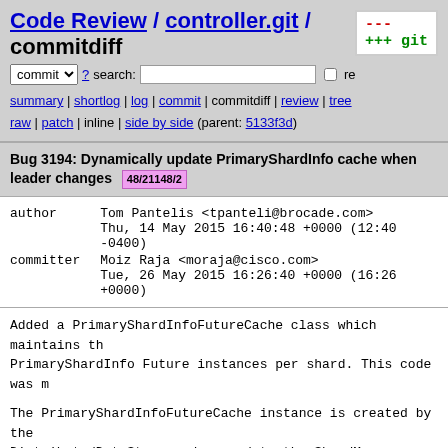Code Review / controller.git / commitdiff
commit ? search: re
summary | shortlog | log | commit | commitdiff | review | tree raw | patch | inline | side by side (parent: 5133f3d)
Bug 3194: Dynamically update PrimaryShardInfo cache when leader changes 48/21148/2
| field | name | detail |
| --- | --- | --- |
| author | Tom Pantelis <tpanteli@brocade.com> |  |
|  | Thu, 14 May 2015 16:40:48 +0000 (12:40 -0400) |  |
| committer | Moiz Raja <moraja@cisco.com> |  |
|  | Tue, 26 May 2015 16:26:40 +0000 (16:26 +0000) |  |
Added a PrimaryShardInfoFutureCache class which maintains th PrimaryShardInfo Future instances per shard. This code was m
The PrimaryShardInfoFutureCache instance is created by the DistributedDataStore and passed to the ShardManager, as well ActorContext. The ActorContext uses the cache as before.
On ShardLeaderChanged message, if the leaderId has changed, ShardManager calls remove on the PrimaryShardInfoFutureCache invalidate the entry for the shard name.